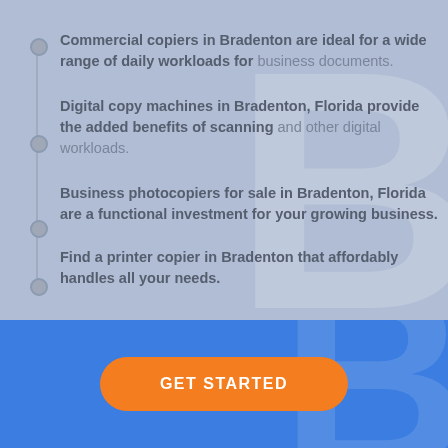Commercial copiers in Bradenton are ideal for a wide range of daily workloads for business documents.
Digital copy machines in Bradenton, Florida provide the added benefits of scanning and other digital workloads.
Business photocopiers for sale in Bradenton, Florida are a functional investment for your growing business.
Find a printer copier in Bradenton that affordably handles all your needs.
GET STARTED